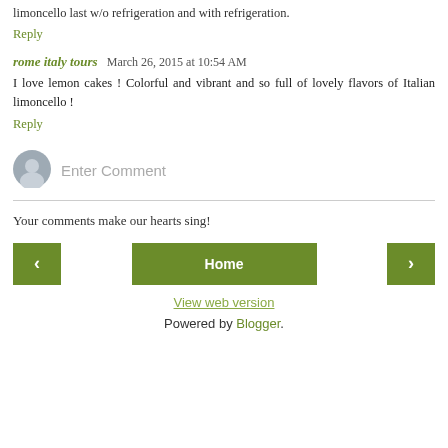limoncello last w/o refrigeration and with refrigeration.
Reply
rome italy tours  March 26, 2015 at 10:54 AM
I love lemon cakes ! Colorful and vibrant and so full of lovely flavors of Italian limoncello !
Reply
[Figure (other): User avatar: grey silhouette person icon in a circular blue-grey frame]
Enter Comment
Your comments make our hearts sing!
< (previous button)  Home  > (next button)
View web version
Powered by Blogger.